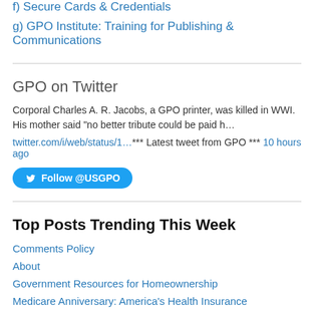f) Secure Cards & Credentials
g) GPO Institute: Training for Publishing & Communications
GPO on Twitter
Corporal Charles A. R. Jacobs, a GPO printer, was killed in WWI. His mother said "no better tribute could be paid h…
twitter.com/i/web/status/1…*** Latest tweet from GPO *** 10 hours ago
Follow @USGPO
Top Posts Trending This Week
Comments Policy
About
Government Resources for Homeownership
Medicare Anniversary: America's Health Insurance
The Harmonized Tariff Schedule: An essential resource for exporters
Economic Report of the President 2022